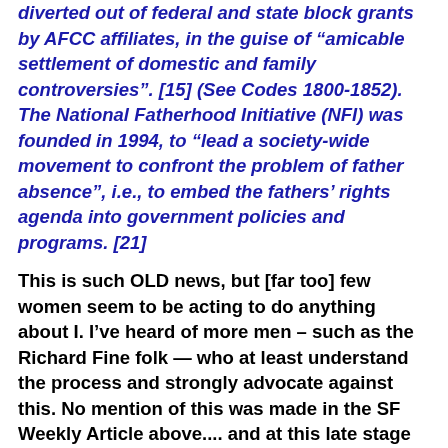diverted out of federal and state block grants by AFCC affiliates, in the guise of “amicable settlement of domestic and family controversies”. [15] (See Codes 1800-1852). The National Fatherhood Initiative (NFI) was founded in 1994, to “lead a society-wide movement to confront the problem of father absence”, i.e., to embed the fathers’ rights agenda into government policies and programs. [21]
This is such OLD news, but [far too] few women seem to be acting to do anything about I.  I’ve heard of more men – such as the Richard Fine folk — who at least understand the process and strongly advocate against this.  No mention of this was made in the SF Weekly Article above.... and at this late stage of the game, I’d have to say that this omission is suspect.